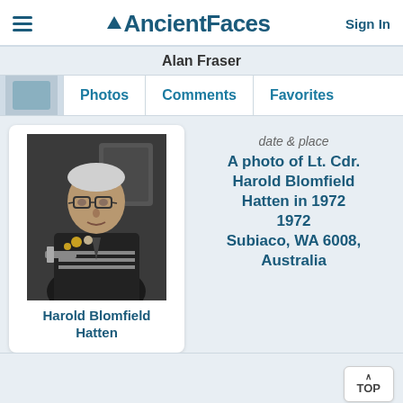AncientFaces  Sign In
Alan Fraser
Photos  Comments  Favorites
[Figure (photo): Black and white photograph of Lt. Cdr. Harold Blomfield Hatten in 1972, an older man in military uniform holding items, wearing glasses]
Harold Blomfield Hatten
date & place
A photo of Lt. Cdr. Harold Blomfield Hatten in 1972
1972
Subiaco, WA 6008, Australia
Alan Fraser updated a photo
Jul 31, 2016 5:20 AM